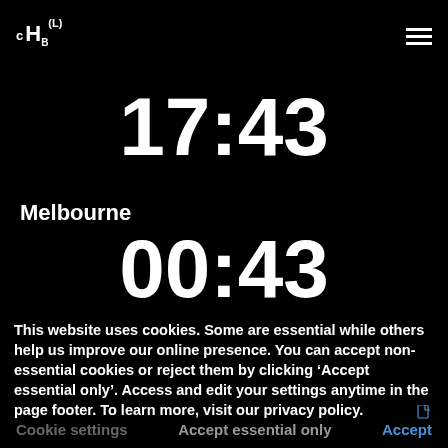[Figure (logo): Logo with text 'c HB(L)' in white on black background]
17:43
Melbourne
00:43
This website uses cookies. Some are essential while others help us improve our online presence. You can accept non-essential cookies or reject them by clicking ‘Accept essential only’. Access and edit your settings anytime in the page footer. To learn more, visit our privacy policy.
Cookie settings   Accept essential only   Accept